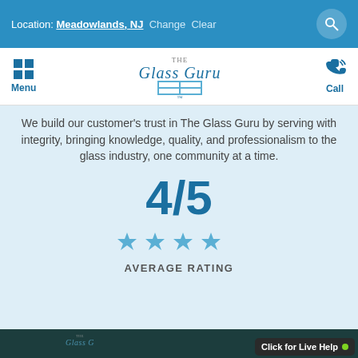Location: Meadowlands, NJ  Change  Clear
[Figure (logo): The Glass Guru logo with grid icon (Menu) on left and phone icon (Call) on right]
We build our customer's trust in The Glass Guru by serving with integrity, bringing knowledge, quality, and professionalism to the glass industry, one community at a time.
4/5
[Figure (other): Four blue star icons representing average rating]
AVERAGE RATING
[Figure (screenshot): Dark teal footer area with The Glass Guru logo partially visible and Click for Live Help button]